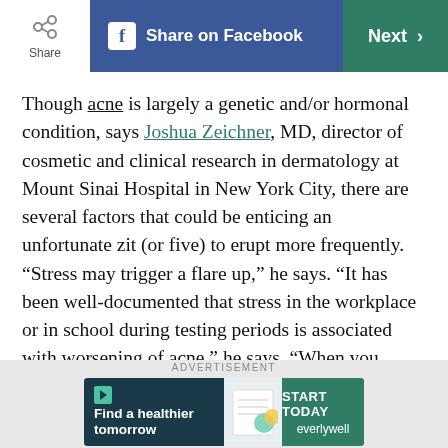Share | Share on Facebook | Next >
Though acne is largely a genetic and/or hormonal condition, says Joshua Zeichner, MD, director of cosmetic and clinical research in dermatology at Mount Sinai Hospital in New York City, there are several factors that could be enticing an unfortunate zit (or five) to erupt more frequently. “Stress may trigger a flare up,” he says. “It has been well-documented that stress in the workplace or in school during testing periods is associated with worsening of acne,” he says. “When you sleep, cortisol levels naturally go down.” Other culprits could be consuming too many sugary and starchy
[Figure (infographic): Advertisement banner for Everlywell: 'Find a healthier tomorrow' with START TODAY button]